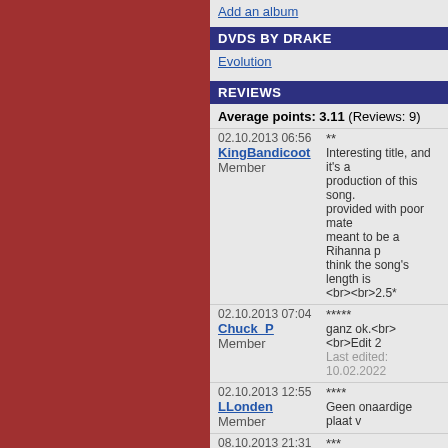Add an album
DVDS BY DRAKE
Evolution
REVIEWS
Average points: 3.11 (Reviews: 9)
02.10.2013 06:56 KingBandicoot Member ** Interesting title, and it's a production of this song. provided with poor mate meant to be a Rihanna p think the song's length is <br><br>2.5*
02.10.2013 07:04 Chuck_P Member ***** ganz ok.<br><br>Edit 2 Last edited: 10.02.2022
02.10.2013 12:55 LLonden Member **** Geen onaardige plaat v
08.10.2013 21:31 Der_Nagel Member *** Rap-Nummer mit dem e Länge gezogen, 3*...<b
02.01.2014 14:50 alleyt1989 Member *** Jay-Z's boring. This is a
28.01.2014 16:19 tgebele Member **** Dümpelt ein wenig dahin
07.06.2014 11:13 sophieellishextor Member **** Drake et Jay-Z ne sont c